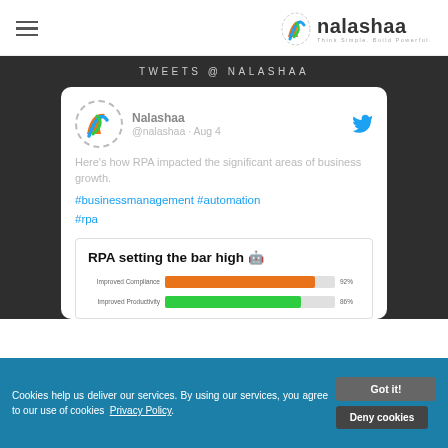[Figure (logo): Nalashaa logo with hamburger menu icon on the left and Nalashaa logo with tagline 'Think Simple. Build Powerful.' on the right]
TWEETS @ NALASHAA
Nalashaa @nalashaa · Aug 4
Here's how RPA impacted the significant areas of business growth.
#businessmanagement #automation #rpa
[Figure (infographic): Infographic titled 'RPA setting the bar high' with two horizontal bar charts: Improved Compliance at 92% (orange bar) and Improved Productivity at 86% (green bar)]
Cookies help us deliver our services. By using our services, you agree to our use of cookies Privacy Policy. Got it! Deny cookies